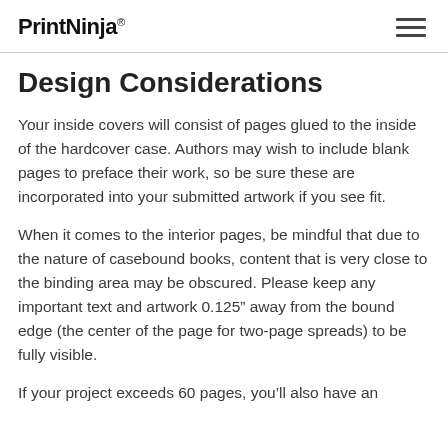PrintNinja
Design Considerations
Your inside covers will consist of pages glued to the inside of the hardcover case. Authors may wish to include blank pages to preface their work, so be sure these are incorporated into your submitted artwork if you see fit.
When it comes to the interior pages, be mindful that due to the nature of casebound books, content that is very close to the binding area may be obscured. Please keep any important text and artwork 0.125” away from the bound edge (the center of the page for two-page spreads) to be fully visible.
If your project exceeds 60 pages, you’ll also have an